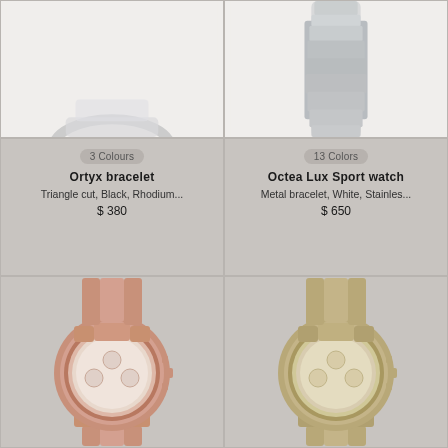[Figure (photo): Ortyx bracelet product photo (top portion, white background)]
[Figure (photo): Octea Lux Sport watch product photo (top portion, white background, stainless bracelet visible)]
3 Colours
Ortyx bracelet
Triangle cut, Black, Rhodium...
$ 380
13 Colors
Octea Lux Sport watch
Metal bracelet, White, Stainles...
$ 650
[Figure (photo): Octea Lux Sport watch in rose gold tone]
[Figure (photo): Octea Lux Sport watch in champagne/gold tone]